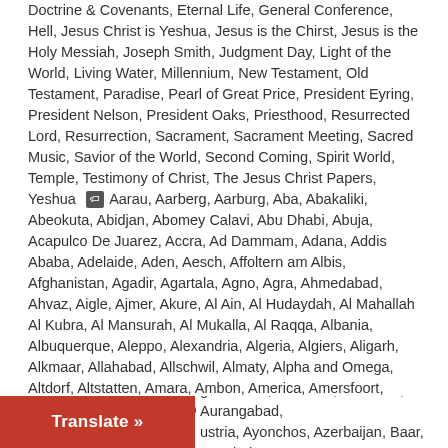Doctrine & Covenants, Eternal Life, General Conference, Hell, Jesus Christ is Yeshua, Jesus is the Chirst, Jesus is the Holy Messiah, Joseph Smith, Judgment Day, Light of the World, Living Water, Millennium, New Testament, Old Testament, Paradise, Pearl of Great Price, President Eyring, President Nelson, President Oaks, Priesthood, Resurrected Lord, Resurrection, Sacrament, Sacrament Meeting, Sacred Music, Savior of the World, Second Coming, Spirit World, Temple, Testimony of Christ, The Jesus Christ Papers, Yeshua [tag] Aarau, Aarberg, Aarburg, Aba, Abakaliki, Abeokuta, Abidjan, Abomey Calavi, Abu Dhabi, Abuja, Acapulco De Juarez, Accra, Ad Dammam, Adana, Addis Ababa, Adelaide, Aden, Aesch, Affoltern am Albis, Afghanistan, Agadir, Agartala, Agno, Agra, Ahmedabad, Ahvaz, Aigle, Ajmer, Akure, Al Ain, Al Hudaydah, Al Mahallah Al Kubra, Al Mansurah, Al Mukalla, Al Raqqa, Albania, Albuquerque, Aleppo, Alexandria, Algeria, Algiers, Aligarh, Alkmaar, Allahabad, Allschwil, Almaty, Alpha and Omega, Altdorf, Altstatten, Amara, Ambon, America, Amersfoort, Amman, Amravati, Amriswil, Amritsar, Amsterdam, Andorra, Andorra La Vella, Angeles City, Angola, Ankang, Ankara, Anqing, Anqiu, Ansan, Anshan, Anshun, Antalya, Antananarivo, Antigua, Antipolo, Antwerp, Anyang, Apeldoorn, Apia, Appenzell, Aquascalientes, Ar Rayyan, Aracaju, Arak, Arbon, Ardabil, Arequipa, Argentina, Ariesheim, Arnhem, Arosa, Arth, As Suways, Asansol, Ascona, Ashgabat, Asmara, Astana, Astrakhan, Asuncion, Athens, Atlanta, [Atoning Sacrifice], Aubonne, Auckland, Aurangabad, [Austria], Ayonchos, Azerbaijan, Baar, Bacolod
[Figure (other): Red 'Translate »' button overlay in bottom-left corner]